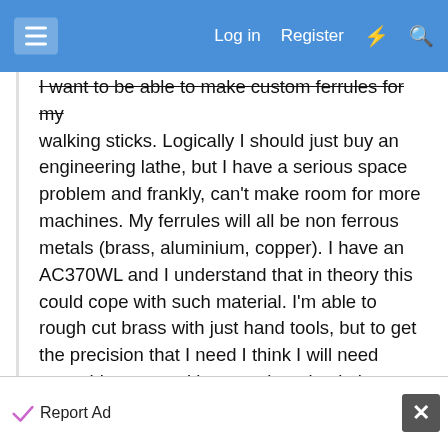Log in  Register
I want to be able to make custom ferrules for my walking sticks. Logically I should just buy an engineering lathe, but I have a serious space problem and frankly, can't make room for more machines. My ferrules will all be non ferrous metals (brass, aluminium, copper). I have an AC370WL and I understand that in theory this could cope with such material. I'm able to rough cut brass with just hand tools, but to get the precision that I need I think I will need something more akin to engineering lathe features. So quick googling shows that adding a cross slide and tool post to a woodworking lathe isn't exactly a novel concept so I would like to move forward with this. However, I have no experience with metal working so before I start blindly buying parts, I was hoping
Report Ad